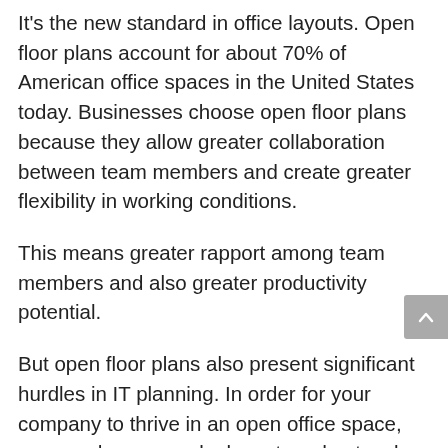It's the new standard in office layouts. Open floor plans account for about 70% of American office spaces in the United States today. Businesses choose open floor plans because they allow greater collaboration between team members and create greater flexibility in working conditions.
This means greater rapport among team members and also greater productivity potential.
But open floor plans also present significant hurdles in IT planning. In order for your company to thrive in an open office space, you need your people, layout, and network locked into seamless step.